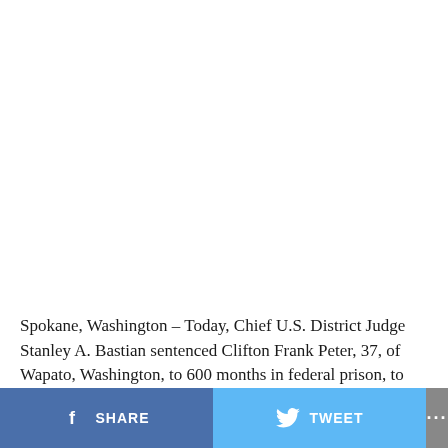Spokane, Washington – Today, Chief U.S. District Judge Stanley A. Bastian sentenced Clifton Frank Peter, 37, of Wapato, Washington, to 600 months in federal prison, to
SHARE   TWEET   ...